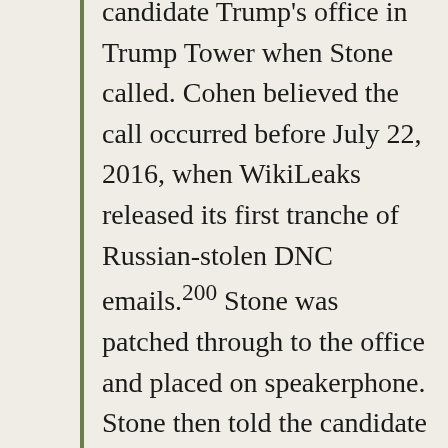candidate Trump's office in Trump Tower when Stone called. Cohen believed the call occurred before July 22, 2016, when WikiLeaks released its first tranche of Russian-stolen DNC emails.200 Stone was patched through to the office and placed on speakerphone. Stone then told the candidate that he had just gotten off the phone with Julian Assange and in a couple of days WikiLeaks would release information. According to Cohen, Stone claimed that he did not know what the content of the materials was and that Trump responded, “oh good, alright” but did not display any further reaction.201 Cohen further told the Office that,